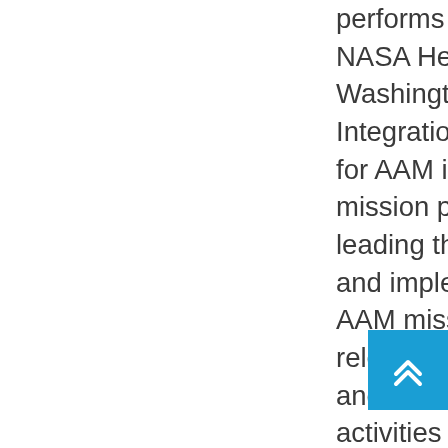performs his duties at NASA Headquarters in Washington DC. Mi... Integration Manage... for AAM include str... mission planning an... leading the develo... and implementatio... AAM mission spann... relevant ARMD pro... and center research activities with the g... implementing the N... AAM investment st... in a manner that accelerates AAM. D... responsible... stra... and techni... management, inclu...
[Figure (other): Blue square button with white double up-arrow chevron (back to top button)]